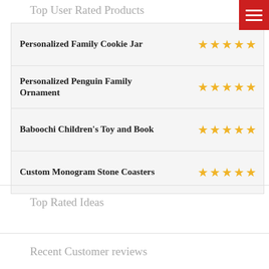Top User Rated Products
| Product | Rating |
| --- | --- |
| Personalized Family Cookie Jar | ★★★★★ |
| Personalized Penguin Family Ornament | ★★★★★ |
| Baboochi Children's Toy and Book | ★★★★★ |
| Custom Monogram Stone Coasters | ★★★★★ |
Top Rated Ideas
Recent Customer reviews